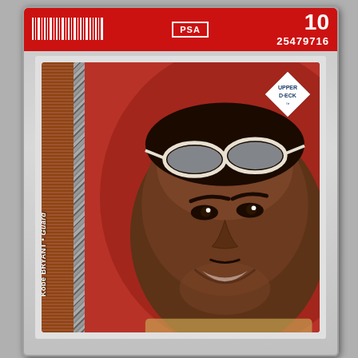[Figure (photo): PSA graded trading card in plastic slab. Red label at top with barcode on left, PSA logo center, grade '10' top right, certification number '25479716'. Card inside is an Upper Deck Kobe Bryant Guard card showing a close-up photo of Kobe smiling with sunglasses on his head, red background, brown textured left strip with player name rotated vertically reading 'Kobe BRYANT • Guard', Upper Deck diamond logo top right of card.]